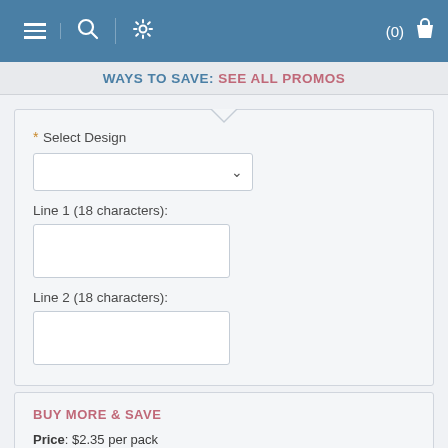Navigation bar with hamburger menu, search, settings icons and cart (0)
WAYS TO SAVE: SEE ALL PROMOS
* Select Design
Line 1 (18 characters):
Line 2 (18 characters):
BUY MORE & SAVE
Price: $2.35 per pack
Packaged: 1 per pack
Minimum: Must order 24 packs